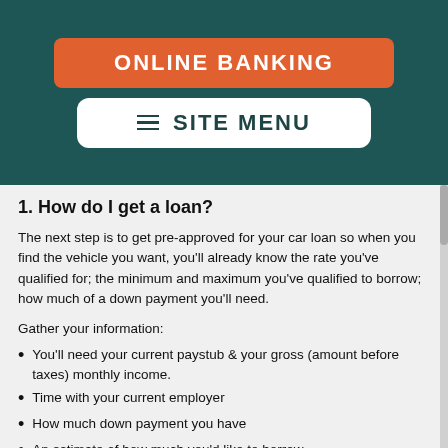[Figure (screenshot): Orange 'ONLINE BANKING' button on dark teal background]
[Figure (screenshot): White 'SITE MENU' button with hamburger icon on dark teal background]
1. How do I get a loan?
The next step is to get pre-approved for your car loan so when you find the vehicle you want, you'll already know the rate you've qualified for; the minimum and maximum you've qualified to borrow; how much of a down payment you'll need.
Gather your information:
You'll need your current paystub & your gross (amount before taxes) monthly income.
Time with your current employer
How much down payment you have
An estimate of how much you'd like to borrow